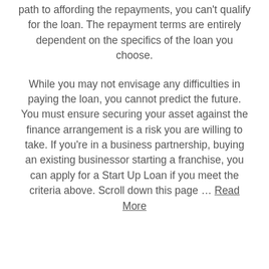path to affording the repayments, you can't qualify for the loan. The repayment terms are entirely dependent on the specifics of the loan you choose.
While you may not envisage any difficulties in paying the loan, you cannot predict the future. You must ensure securing your asset against the finance arrangement is a risk you are willing to take. If you're in a business partnership, buying an existing businessor starting a franchise, you can apply for a Start Up Loan if you meet the criteria above. Scroll down this page … Read More